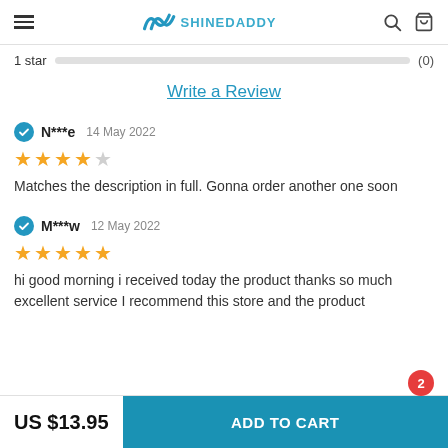SHINEDADDY
1 star (0)
Write a Review
N***e 14 May 2022 — 4 stars — Matches the description in full. Gonna order another one soon
M***w 12 May 2022 — 5 stars — hi good morning i received today the product thanks so much excellent service I recommend this store and the product
US $13.95
ADD TO CART